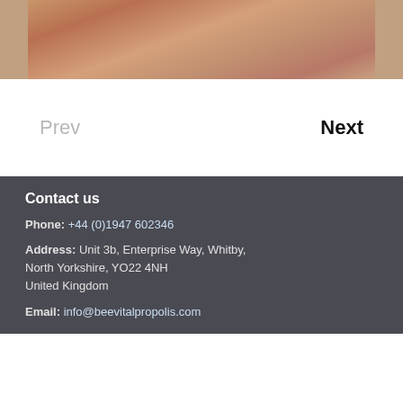[Figure (photo): Cropped photo showing hands, likely a massage or wellness related image, warm skin tones]
Prev
Next
Contact us
Phone: +44 (0)1947 602346
Address: Unit 3b, Enterprise Way, Whitby, North Yorkshire, YO22 4NH United Kingdom
Email: info@beevitalpropolis.com